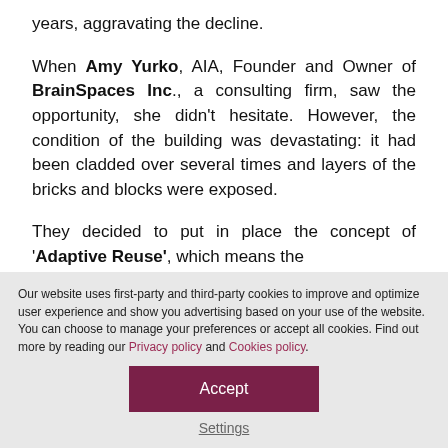years, aggravating the decline.
When Amy Yurko, AIA, Founder and Owner of BrainSpaces Inc., a consulting firm, saw the opportunity, she didn't hesitate. However, the condition of the building was devastating: it had been cladded over several times and layers of the bricks and blocks were exposed.
They decided to put in place the concept of 'Adaptive Reuse', which means the [text continues below fold]
Our website uses first-party and third-party cookies to improve and optimize user experience and show you advertising based on your use of the website. You can choose to manage your preferences or accept all cookies. Find out more by reading our Privacy policy and Cookies policy.